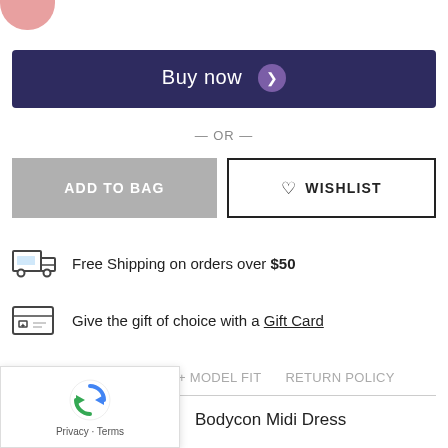[Figure (illustration): Partial pink circle avatar at top left corner]
Buy now
— OR —
ADD TO BAG
WISHLIST
Free Shipping on orders over $50
Give the gift of choice with a Gift Card
DESCRIPTION   SIZE + MODEL FIT   RETURN POLICY
Bodycon Midi Dress